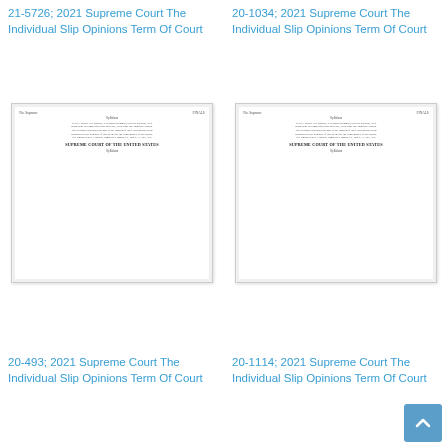21-5726; 2021 Supreme Court The Individual Slip Opinions Term Of Court
[Figure (screenshot): Thumbnail of a Supreme Court slip opinion document showing 'SUPREME COURT OF THE UNITED STATES' heading and syllabus text]
20-1034; 2021 Supreme Court The Individual Slip Opinions Term Of Court
[Figure (screenshot): Thumbnail of a Supreme Court slip opinion document showing 'SUPREME COURT OF THE UNITED STATES' heading and syllabus text]
20-493; 2021 Supreme Court The Individual Slip Opinions Term Of Court
20-1114; 2021 Supreme Court The Individual Slip Opinions Term Of Court